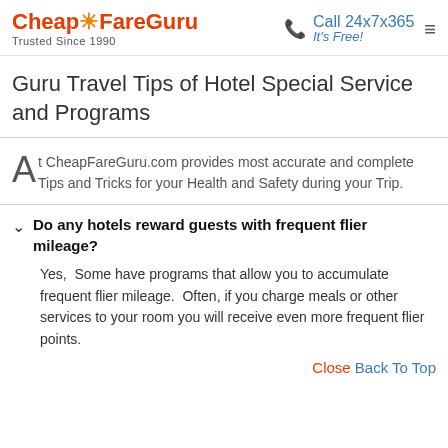CheapFareGuru Trusted Since 1990 | Call 24x7x365 It's Free!
Guru Travel Tips of Hotel Special Service and Programs
At CheapFareGuru.com provides most accurate and complete Tips and Tricks for your Health and Safety during your Trip.
Do any hotels reward guests with frequent flier mileage?
Yes, Some have programs that allow you to accumulate frequent flier mileage. Often, if you charge meals or other services to your room you will receive even more frequent flier points.
Close Back To Top